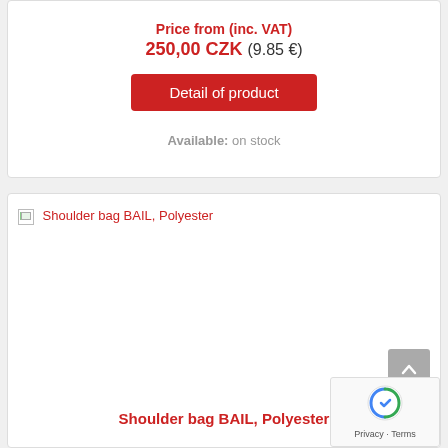Shoulder bag BAIL, Polyester
Price from (inc. VAT)
250,00 CZK (9.85 €)
Detail of product
Available: on stock
[Figure (photo): Product image placeholder for Shoulder bag BAIL, Polyester (broken image icon shown)]
Shoulder bag BAIL, Polyester